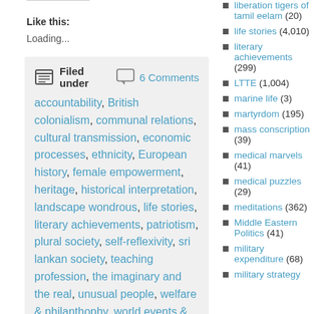Like this:
Loading...
Filed under  6 Comments  accountability, British colonialism, communal relations, cultural transmission, economic processes, ethnicity, European history, female empowerment, heritage, historical interpretation, landscape wondrous, life stories, literary achievements, patriotism, plural society, self-reflexivity, sri lankan society, teaching profession, the imaginary and the real, unusual people, welfare & philanthophy, world events & processes
liberation tigers of tamil eelam (20)
life stories (4,010)
literary achievements (299)
LTTE (1,004)
marine life (3)
martyrdom (195)
mass conscription (39)
medical marvels (41)
medical puzzles (29)
meditations (362)
Middle Eastern Politics (41)
military expenditure (68)
military strategy